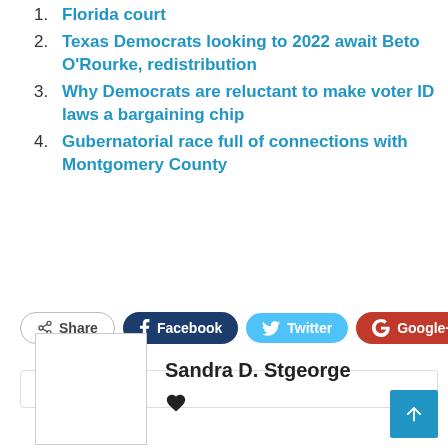Florida court
Texas Democrats looking to 2022 await Beto O'Rourke, redistribution
Why Democrats are reluctant to make voter ID laws a bargaining chip
Gubernatorial race full of connections with Montgomery County
Share  Facebook  Twitter  Google+  +
Sandra D. Stgeorge